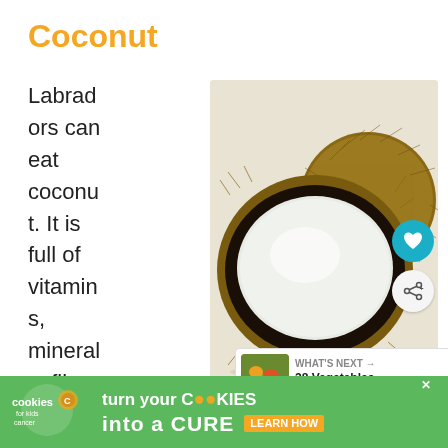Coconut
Labradors can eat coconut. It is full of vitamins, minerals, fiber, and antioxidants to support your immune system. It helps prevent viruses, reduces in...
[Figure (photo): A halved coconut showing white flesh interior beside a whole hairy coconut, on a white background. Heart and share buttons overlaid on image.]
[Figure (infographic): What's Next panel: thumbnail of vegetables, label 'WHAT'S NEXT', title '28 Vegetables Labradors C...']
[Figure (infographic): Advertisement banner: 'cookies for kids cancer - turn your COOKIES into a CURE LEARN HOW' on green background]